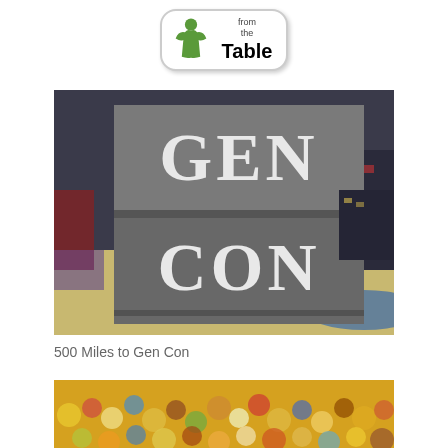[Figure (logo): News from the Table logo with green meeple figure and rounded rectangle badge]
[Figure (photo): Gen Con sign with large white serif text 'GEN CON' on grey panels, photographed in an arena setting with colorful flooring visible in background]
500 Miles to Gen Con
[Figure (photo): Close-up photograph of a dense crowd of colorful LEGO minifigures, blurred background]